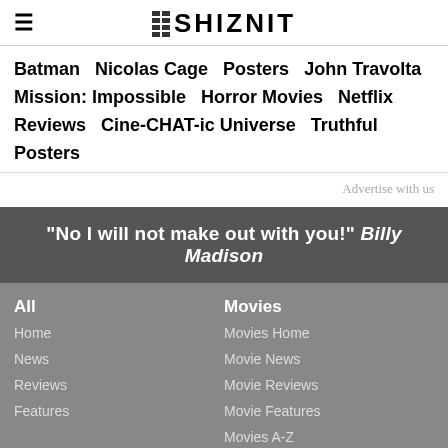≡ THE SHIZNIT
Batman
Nicolas Cage
Posters
John Travolta
Mission: Impossible
Horror Movies
Netflix Reviews
Cine-CHAT-ic Universe
Truthful Posters
Advertise with us
"No I will not make out with you!" Billy Madison
All
Home
News
Reviews
Features
Movies
Movies Home
Movie News
Movie Reviews
Movie Features
Movies A-Z